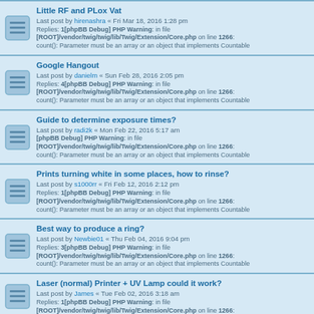Little RF and PLox Vat - Last post by hirenashra « Fri Mar 18, 2016 1:28 pm - Replies: 1[phpBB Debug] PHP Warning: in file [ROOT]/vendor/twig/twig/lib/Twig/Extension/Core.php on line 1266: count(): Parameter must be an array or an object that implements Countable
Google Hangout - Last post by danielm « Sun Feb 28, 2016 2:05 pm - Replies: 4[phpBB Debug] PHP Warning: in file [ROOT]/vendor/twig/twig/lib/Twig/Extension/Core.php on line 1266: count(): Parameter must be an array or an object that implements Countable
Guide to determine exposure times? - Last post by radi2k « Mon Feb 22, 2016 5:17 am - [phpBB Debug] PHP Warning: in file [ROOT]/vendor/twig/twig/lib/Twig/Extension/Core.php on line 1266: count(): Parameter must be an array or an object that implements Countable
Prints turning white in some places, how to rinse? - Last post by s1000rr « Fri Feb 12, 2016 2:12 pm - Replies: 1[phpBB Debug] PHP Warning: in file [ROOT]/vendor/twig/twig/lib/Twig/Extension/Core.php on line 1266: count(): Parameter must be an array or an object that implements Countable
Best way to produce a ring? - Last post by Newbie01 « Thu Feb 04, 2016 9:04 pm - Replies: 3[phpBB Debug] PHP Warning: in file [ROOT]/vendor/twig/twig/lib/Twig/Extension/Core.php on line 1266: count(): Parameter must be an array or an object that implements Countable
Laser (normal) Printer + UV Lamp could it work? - Last post by James « Tue Feb 02, 2016 3:18 am - Replies: 1[phpBB Debug] PHP Warning: in file [ROOT]/vendor/twig/twig/lib/Twig/Extension/Core.php on line 1266: